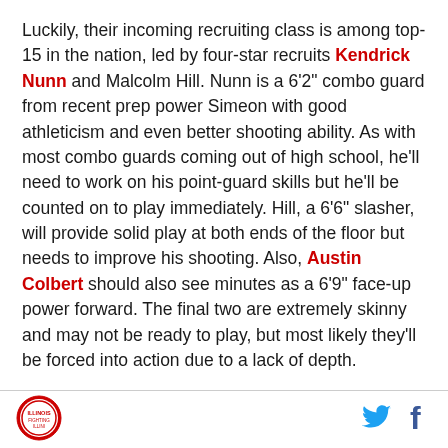Luckily, their incoming recruiting class is among top-15 in the nation, led by four-star recruits Kendrick Nunn and Malcolm Hill. Nunn is a 6'2" combo guard from recent prep power Simeon with good athleticism and even better shooting ability. As with most combo guards coming out of high school, he'll need to work on his point-guard skills but he'll be counted on to play immediately. Hill, a 6'6" slasher, will provide solid play at both ends of the floor but needs to improve his shooting. Also, Austin Colbert should also see minutes as a 6'9" face-up power forward. The final two are extremely skinny and may not be ready to play, but most likely they'll be forced into action due to a lack of depth.
[Figure (logo): Circular team logo with red border]
[Figure (illustration): Twitter bird icon in blue]
[Figure (illustration): Facebook f icon in dark blue]